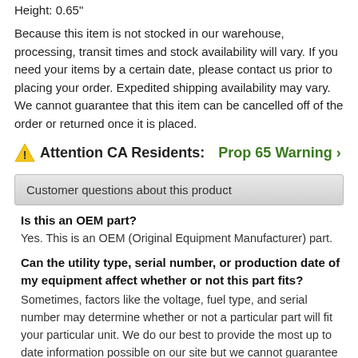Height: 0.65"
Because this item is not stocked in our warehouse, processing, transit times and stock availability will vary. If you need your items by a certain date, please contact us prior to placing your order. Expedited shipping availability may vary. We cannot guarantee that this item can be cancelled off of the order or returned once it is placed.
⚠ Attention CA Residents: Prop 65 Warning ›
Customer questions about this product
Is this an OEM part?
Yes. This is an OEM (Original Equipment Manufacturer) part.
Can the utility type, serial number, or production date of my equipment affect whether or not this part fits?
Sometimes, factors like the voltage, fuel type, and serial number may determine whether or not a particular part will fit your particular unit. We do our best to provide the most up to date information possible on our site but we cannot guarantee that this will clarify every possible